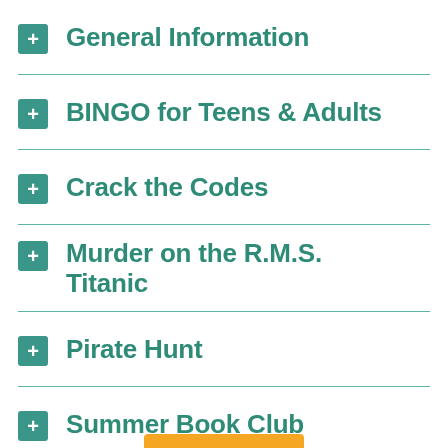General Information
BINGO for Teens & Adults
Crack the Codes
Murder on the R.M.S. Titanic
Pirate Hunt
Summer Book Club